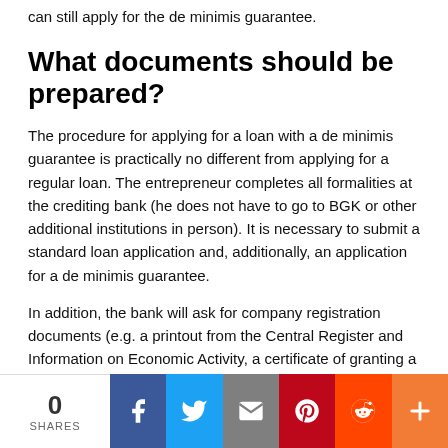can still apply for the de minimis guarantee.
What documents should be prepared?
The procedure for applying for a loan with a de minimis guarantee is practically no different from applying for a regular loan. The entrepreneur completes all formalities at the crediting bank (he does not have to go to BGK or other additional institutions in person). It is necessary to submit a standard loan application and, additionally, an application for a de minimis guarantee.
In addition, the bank will ask for company registration documents (e.g. a printout from the Central Register and Information on Economic Activity, a certificate of granting a REGON number, NIP), financial documents (for a specific period of activity) and a statement (or official certificate) about non-arrears with payments
0 SHARES | Social share bar: Facebook, Twitter, Email, Pinterest, Reddit, More